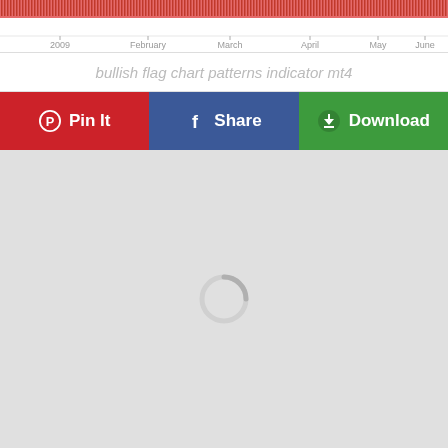[Figure (continuous-plot): Partial candlestick/bar chart strip showing red price bars with an x-axis showing months: 2009, February, March, April, May, June]
bullish flag chart patterns indicator mt4
[Figure (infographic): Three social sharing buttons: Pin It (red, Pinterest icon), Share (blue, Facebook icon), Download (green, download cloud icon)]
[Figure (screenshot): Gray loading area with a circular spinner/loader in the center]